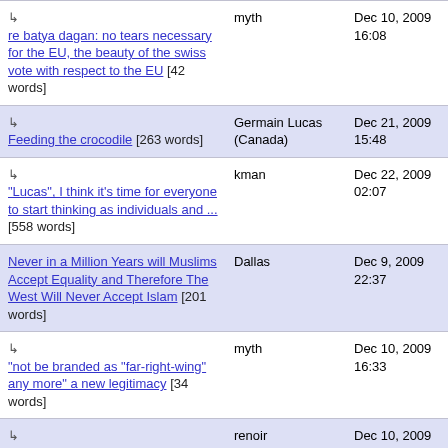re batya dagan: no tears necessary for the EU, the beauty of the swiss vote with respect to the EU [42 words] | myth | Dec 10, 2009 16:08
Feeding the crocodile [263 words] | Germain Lucas (Canada) | Dec 21, 2009 15:48
"Lucas", I think it's time for everyone to start thinking as individuals and ... [558 words] | kman | Dec 22, 2009 02:07
Never in a Million Years will Muslims Accept Equality and Therefore The West Will Never Accept Islam [201 words] | Dallas | Dec 9, 2009 22:37
"not be branded as "far-right-wing" any more" a new legitimacy [34 words] | myth | Dec 10, 2009 16:33
In full agreement...other countries MUST stop this cancerous threat. [132 words] | renoir | Dec 10, 2009 22:27
Putting Islam on the Same Level: "The Three Great Religions" [271 | Dallas | Dec 11, 2009 08:38